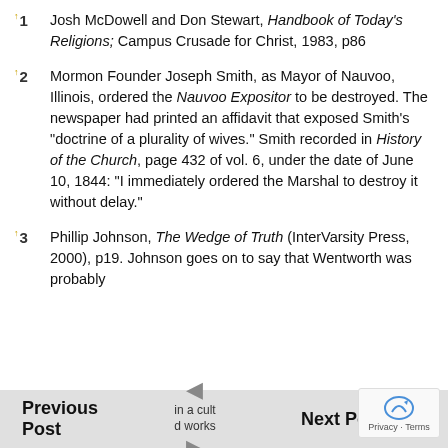1 Josh McDowell and Don Stewart, Handbook of Today's Religions; Campus Crusade for Christ, 1983, p86
2 Mormon Founder Joseph Smith, as Mayor of Nauvoo, Illinois, ordered the Nauvoo Expositor to be destroyed. The newspaper had printed an affidavit that exposed Smith's “doctrine of a plurality of wives.” Smith recorded in History of the Church, page 432 of vol. 6, under the date of June 10, 1844: “I immediately ordered the Marshal to destroy it without delay.”
3 Phillip Johnson, The Wedge of Truth (InterVarsity Press, 2000), p19. Johnson goes on to say that Wentworth was probably in a cult d works
Previous Post     Next Post